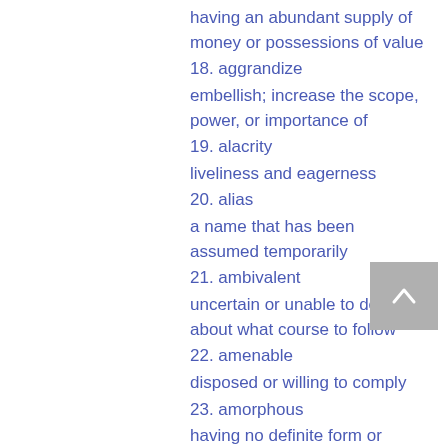having an abundant supply of money or possessions of value
18. aggrandize
embellish; increase the scope, power, or importance of
19. alacrity
liveliness and eagerness
20. alias
a name that has been assumed temporarily
21. ambivalent
uncertain or unable to decide about what course to follow
22. amenable
disposed or willing to comply
23. amorphous
having no definite form or distinct shape
24. anachronistic